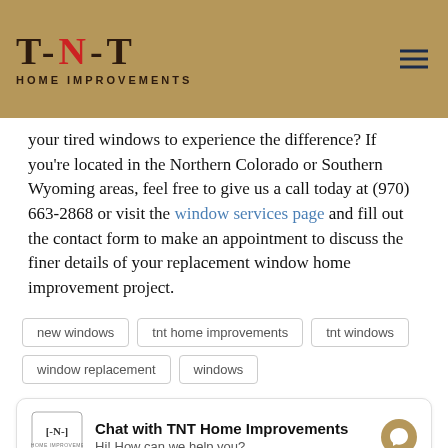T-N-T HOME IMPROVEMENTS
your tired windows to experience the difference? If you're located in the Northern Colorado or Southern Wyoming areas, feel free to give us a call today at (970) 663-2868 or visit the window services page and fill out the contact form to make an appointment to discuss the finer details of your replacement window home improvement project.
new windows
tnt home improvements
tnt windows
window replacement
windows
Chat with TNT Home Improvements
Hi! How can we help you?
Look Better?